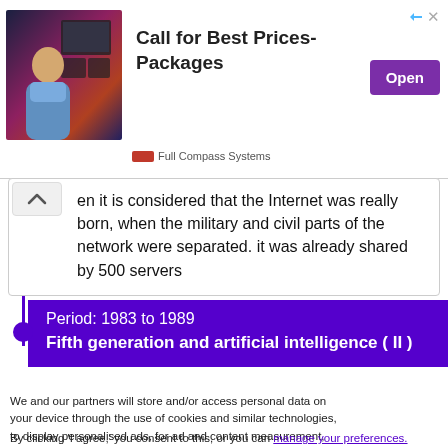[Figure (screenshot): Ad banner for Full Compass Systems with photo of man, bold headline 'Call for Best Prices-Packages', purple 'Open' button, and small play/close icons]
en it is considered that the Internet was really born, when the military and civil parts of the network were separated. it was already shared by 500 servers
Period: 1983 to 1989
Fifth generation and artificial intelligence ( II )
We and our partners will store and/or access personal data on your device through the use of cookies and similar technologies, to display personalised ads, for ad and content measurement, audience insights and product development.

By clicking 'I agree,' you consent to this, or you can manage your preferences.